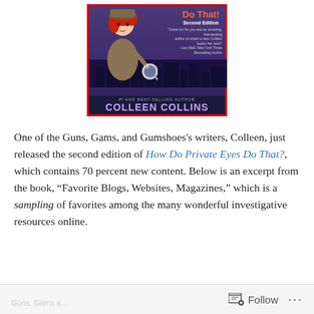[Figure (illustration): Book cover for 'How Do Private Eyes Do That? Second Edition' by PI and Best-Selling Author Colleen Collins. Features a cartoon woman with red hair wearing a trench coat and holding a magnifying glass, against a purple city skyline background. Author name is in large purple text at the bottom.]
One of the Guns, Gams, and Gumshoes's writers, Colleen, just released the second edition of How Do Private Eyes Do That?, which contains 70 percent new content. Below is an excerpt from the book, “Favorite Blogs, Websites, Magazines,” which is a sampling of favorites among the many wonderful investigative resources online.
Follow ...